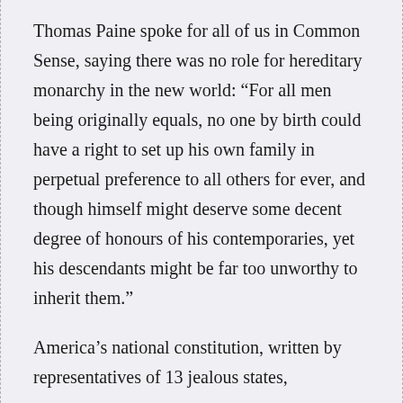Thomas Paine spoke for all of us in Common Sense, saying there was no role for hereditary monarchy in the new world: “For all men being originally equals, no one by birth could have a right to set up his own family in perpetual preference to all others for ever, and though himself might deserve some decent degree of honours of his contemporaries, yet his descendants might be far too unworthy to inherit them.”
America’s national constitution, written by representatives of 13 jealous states,